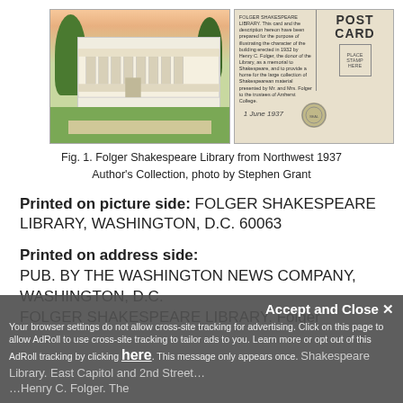[Figure (photo): Two postcards side by side: left shows front of postcard with illustration of Folger Shakespeare Library building from northwest 1937, right shows back of postcard with 'POST CARD' header, handwriting, stamp box, and seal]
Fig. 1. Folger Shakespeare Library from Northwest 1937
Author's Collection, photo by Stephen Grant
Printed on picture side: FOLGER SHAKESPEARE LIBRARY, WASHINGTON, D.C. 60063
Printed on address side:
PUB. BY THE WASHINGTON NEWS COMPANY, WASHINGTON, D.C.
FOLGER SHAKESPEARE LIBRARY. Folger Shakespeare Library. East Capitol and 2nd Street...Henry C. Folger. The